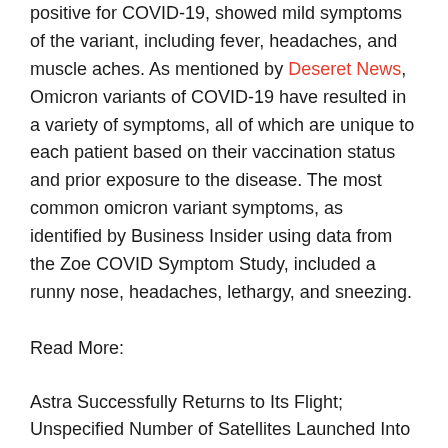positive for COVID-19, showed mild symptoms of the variant, including fever, headaches, and muscle aches. As mentioned by Deseret News, Omicron variants of COVID-19 have resulted in a variety of symptoms, all of which are unique to each patient based on their vaccination status and prior exposure to the disease. The most common omicron variant symptoms, as identified by Business Insider using data from the Zoe COVID Symptom Study, included a runny nose, headaches, lethargy, and sneezing.
Read More:
Astra Successfully Returns to Its Flight; Unspecified Number of Satellites Launched Into Orbit
NFT Projects: Best Nonrefungible Tokens and How It Benefitted Humanity